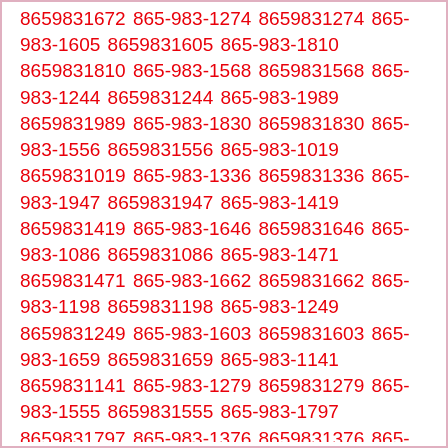8659831672 865-983-1274 8659831274 865-983-1605 8659831605 865-983-1810 8659831810 865-983-1568 8659831568 865-983-1244 8659831244 865-983-1989 8659831989 865-983-1830 8659831830 865-983-1556 8659831556 865-983-1019 8659831019 865-983-1336 8659831336 865-983-1947 8659831947 865-983-1419 8659831419 865-983-1646 8659831646 865-983-1086 8659831086 865-983-1471 8659831471 865-983-1662 8659831662 865-983-1198 8659831198 865-983-1249 8659831249 865-983-1603 8659831603 865-983-1659 8659831659 865-983-1141 8659831141 865-983-1279 8659831279 865-983-1555 8659831555 865-983-1797 8659831797 865-983-1376 8659831376 865-983-1836 8659831836 865-983-1823 8659831823 865-983-1356 8659831356 865-983-1303 8659831303 865-983-1051 8659831051 865-983-1547 8659831547 865-983-1030 8659831030 865-983-1169 8659831169 865-983-1592 8659831592 865-